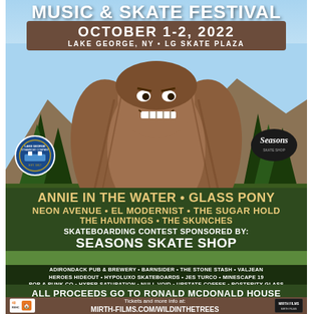MUSIC & SKATE FESTIVAL
OCTOBER 1-2, 2022
LAKE GEORGE, NY • LG SKATE PLAZA
[Figure (illustration): Illustrated creature (Bigfoot/Yeti style monster) with long brown hair, evil grin, set against mountains, trees, and blue sky. Lake George Steamboat Company logo on left, Seasons Skate Shop logo on right.]
ANNIE IN THE WATER • GLASS PONY
NEON AVENUE • EL MODERNIST • THE SUGAR HOLD
THE HAUNTINGS • THE SKUNCHES
SKATEBOARDING CONTEST SPONSORED BY:
SEASONS SKATE SHOP
ADIRONDACK PUB & BREWERY • BARNSIDER • THE STONE STASH • VALJEAN
HEROES HIDEOUT • HYPOLUXO SKATEBOARDS • JES TURCO • MINESCAPE 19
POP & PUNK CO • HYPER SATURATION • NULL VOID • UPSTATE COFFEE • POSTERITY GLASS
ALL PROCEEDS GO TO RONALD MCDONALD HOUSE
Tickets and more info at:
MIRTH-FILMS.COM/WILDINTHETREES